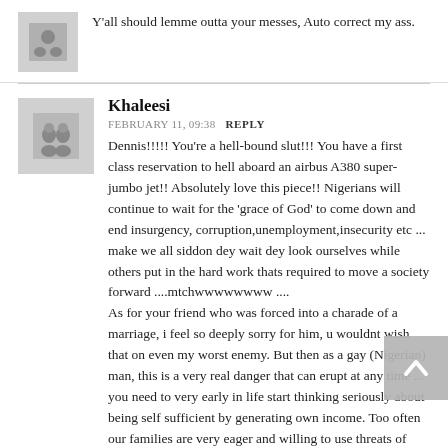Y'all should lemme outta your messes, Auto correct my ass.
Khaleesi
FEBRUARY 11, 09:38  REPLY
Dennis!!!!! You're a hell-bound slut!!! You have a first class reservation to hell aboard an airbus A380 super-jumbo jet!! Absolutely love this piece!! Nigerians will continue to wait for the 'grace of God' to come down and end insurgency, corruption,unemployment,insecurity etc ... make we all siddon dey wait dey look ourselves while others put in the hard work thats required to move a society forward ....mtchwwwwwwww .... As for your friend who was forced into a charade of a marriage, i feel so deeply sorry for him, u wouldnt wish that on even my worst enemy. But then as a gay (Nigerian) man, this is a very real danger that can erupt at any time ... you need to very early in life start thinking seriously about being self sufficient by generating your own income. Too often our families are very eager and willing to use threats of financial abandonment as potent weapons in order to get us 'in line' ... i frankly don't know how our gay friends can get away with living in our homes